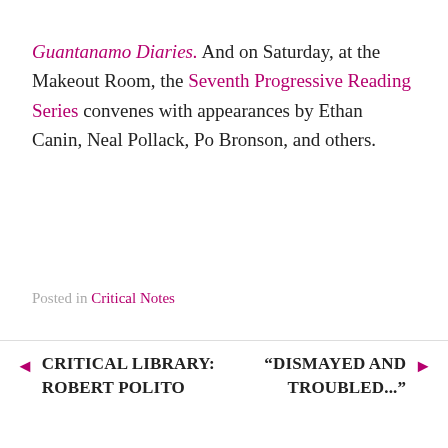Guantanamo Diaries. And on Saturday, at the Makeout Room, the Seventh Progressive Reading Series convenes with appearances by Ethan Canin, Neal Pollack, Po Bronson, and others.
Posted in Critical Notes
◄ CRITICAL LIBRARY: ROBERT POLITO
"DISMAYED AND TROUBLED..." ►